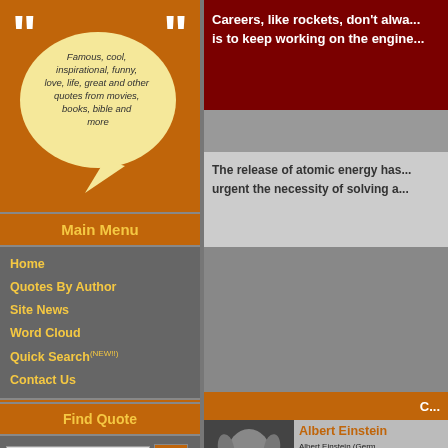[Figure (illustration): Speech bubble with quote marks saying: Famous, cool, inspirational, funny, love, life, great and other quotes from movies, books, bible and more]
Main Menu
Home
Quotes By Author
Site News
Word Cloud
Quick Search (NEW!!)
Contact Us
Find Quote
Calendar
August 2022
Careers, like rockets, don't alwa... is to keep working on the engine...
The release of atomic energy has... urgent the necessity of solving a...
C...
Albert Einstein
Albert Einstein (Germ... 'ælb3ʌ 'aɪnstaɪn/) (M... He is best known for h... . Einstein received the... especially for his dis...